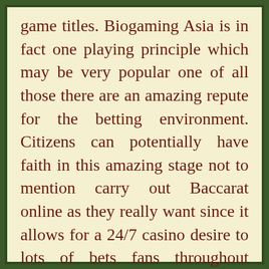game titles. Biogaming Asia is in fact one playing principle which may be very popular one of all those there are an amazing repute for the betting environment. Citizens can potentially have faith in this amazing stage not to mention carry out Baccarat online as they really want since it allows for a 24/7 casino desire to lots of bets fans throughout Thailand. When necessary, intrigued most people can certainly follow this or sometimes have a look at each of our endorsed a website to realize around Baccarat.